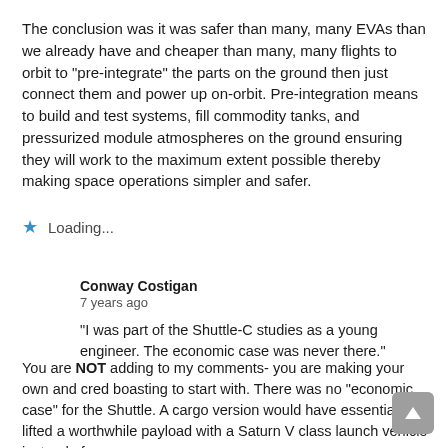The conclusion was it was safer than many, many EVAs than we already have and cheaper than many, many flights to orbit to "pre-integrate" the parts on the ground then just connect them and power up on-orbit. Pre-integration means to build and test systems, fill commodity tanks, and pressurized module atmospheres on the ground ensuring they will work to the maximum extent possible thereby making space operations simpler and safer.
★ Loading...
Conway Costigan
7 years ago
"I was part of the Shuttle-C studies as a young engineer. The economic case was never there."
You are NOT adding to my comments- you are making your own and cred boasting to start with. There was no "economic case" for the Shuttle. A cargo version would have essentially lifted a worthwhile payload with a Saturn V class launch vehicle instead of